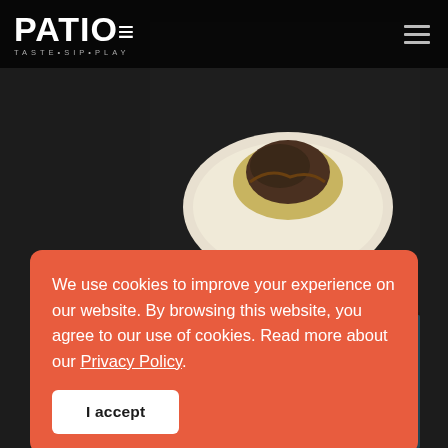PATIO - TASTE • SIP • PLAY
[Figure (photo): Food photo showing a white bowl with a dish topped with dark sauce/toppings, on a dark background]
[Figure (photo): Bar/venue photo with dark bottles in the foreground and a teal/blue blurred background]
We use cookies to improve your experience on our website. By browsing this website, you agree to our use of cookies. Read more about our Privacy Policy.
I accept